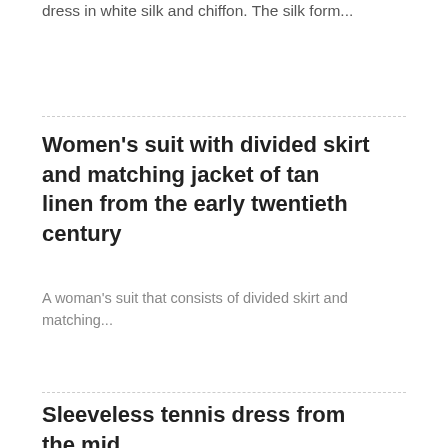dress in white silk and chiffon. The silk form...
Women's suit with divided skirt and matching jacket of tan linen from the early twentieth century
A woman's suit that consists of divided skirt and matching...
Sleeveless tennis dress from the mid